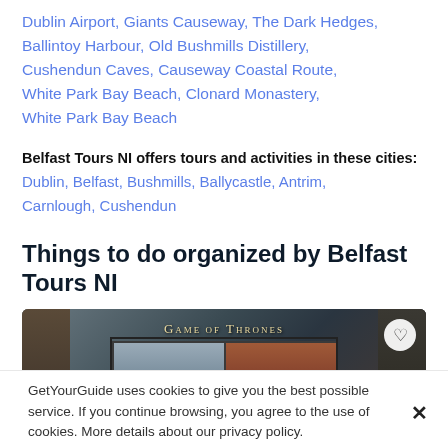Dublin Airport,  Giants Causeway,  The Dark Hedges,  Ballintoy Harbour,  Old Bushmills Distillery,  Cushendun Caves,  Causeway Coastal Route,  White Park Bay Beach,  Clonard Monastery,  White Park Bay Beach
Belfast Tours NI offers tours and activities in these cities:
Dublin,  Belfast,  Bushmills,  Ballycastle,  Antrim,  Carnlough,  Cushendun
Things to do organized by Belfast Tours NI
[Figure (photo): A photo showing a Game of Thrones display board with character images, with a heart/favorite icon in the top right corner.]
GetYourGuide uses cookies to give you the best possible service. If you continue browsing, you agree to the use of cookies. More details about our privacy policy.